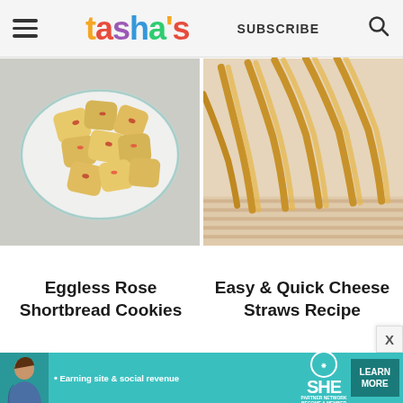tasha's — SUBSCRIBE
[Figure (photo): Overhead view of eggless rose shortbread cookies with red rose petals in a white oval dish on a grey snowflake patterned cloth]
[Figure (photo): Twisted cheese straws piled on a striped cloth]
Eggless Rose Shortbread Cookies
Easy & Quick Cheese Straws Recipe
[Figure (infographic): SHE Media Partner Network advertisement banner — Earning site & social revenue — LEARN MORE]